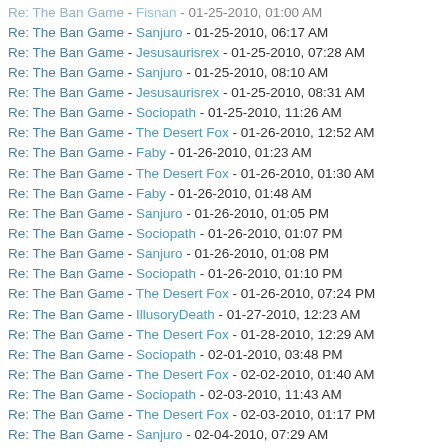Re: The Ban Game - Sanjuro - 01-25-2010, 06:17 AM
Re: The Ban Game - Jesusaurisrex - 01-25-2010, 07:28 AM
Re: The Ban Game - Sanjuro - 01-25-2010, 08:10 AM
Re: The Ban Game - Jesusaurisrex - 01-25-2010, 08:31 AM
Re: The Ban Game - Sociopath - 01-25-2010, 11:26 AM
Re: The Ban Game - The Desert Fox - 01-26-2010, 12:52 AM
Re: The Ban Game - Faby - 01-26-2010, 01:23 AM
Re: The Ban Game - The Desert Fox - 01-26-2010, 01:30 AM
Re: The Ban Game - Faby - 01-26-2010, 01:48 AM
Re: The Ban Game - Sanjuro - 01-26-2010, 01:05 PM
Re: The Ban Game - Sociopath - 01-26-2010, 01:07 PM
Re: The Ban Game - Sanjuro - 01-26-2010, 01:08 PM
Re: The Ban Game - Sociopath - 01-26-2010, 01:10 PM
Re: The Ban Game - The Desert Fox - 01-26-2010, 07:24 PM
Re: The Ban Game - IllusoryDeath - 01-27-2010, 12:23 AM
Re: The Ban Game - The Desert Fox - 01-28-2010, 12:29 AM
Re: The Ban Game - Sociopath - 02-01-2010, 03:48 PM
Re: The Ban Game - The Desert Fox - 02-02-2010, 01:40 AM
Re: The Ban Game - Sociopath - 02-03-2010, 11:43 AM
Re: The Ban Game - The Desert Fox - 02-03-2010, 01:17 PM
Re: The Ban Game - Sanjuro - 02-04-2010, 07:29 AM
Re: The Ban Game - Sociopath - 02-04-2010, 11:47 AM
Re: The Ban Game - The Desert Fox - 02-04-2010, 01:17 PM